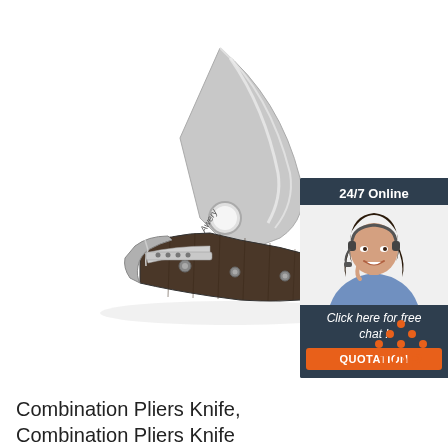[Figure (photo): A folding pocket knife with a stainless steel blade open, featuring a wooden dark brown handle with silver metal bolsters and rivets, and a thumb hole on the blade. The knife is photographed on a white background.]
[Figure (infographic): Customer service chat widget with dark navy background. Shows '24/7 Online' header, a photo of a smiling woman with a headset, text 'Click here for free chat!', and an orange button labeled 'QUOTATION'.]
[Figure (illustration): Orange 'TOP' button with orange dot triangle above the word TOP in orange text on white background.]
Combination Pliers Knife, Combination Pliers Knife